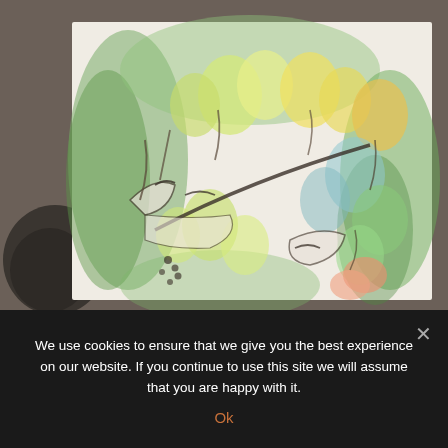[Figure (photo): A watercolor painting photographed on a table. The painting depicts abstract reclining human figures surrounded by colorful leaf or flower shapes in shades of green, yellow, blue, peach/orange, with dark ink outlines. The background of the painting is white with green wash borders. The photo is taken from above showing the painting laid flat.]
We use cookies to ensure that we give you the best experience on our website. If you continue to use this site we will assume that you are happy with it.
Ok